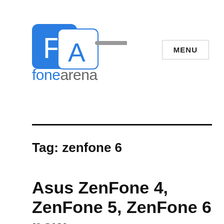[Figure (logo): FoneArena logo with blue FA icon and text 'fonearena']
MENU
Tag: zenfone 6
Asus ZenFone 4, ZenFone 5, ZenFone 6 now